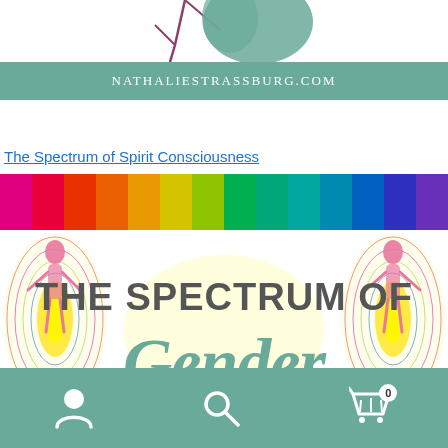[Figure (logo): Partial view of a tree/branch logo at top of page]
NathalieStrassburg.com
The Spectrum of Spirit Consciousness
[Figure (illustration): Book cover 'The Spectrum of Gender' with rainbow stripe header and colorful anatomical energy body figures on a white background with large text 'The Spectrum of Gender' in grey and teal script]
Navigation bar with user icon, search icon, and cart icon with badge 0